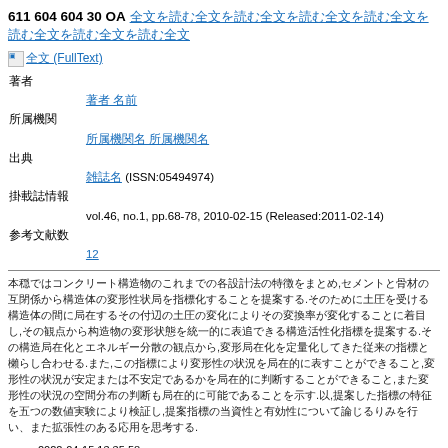611 604 604 30 OA [Japanese characters - article title link]
[image] 全文 (FullText)
著者
[link: 著者名]
所属機関
[link: 所属機関名]
出典
[link: 雑誌名] (ISSN:05494974)
掲載誌情報
vol.46, no.1, pp.68-78, 2010-02-15 (Released:2011-02-14)
参考文献数
12
[Abstract text in Japanese]
2022-04-15 13:35:58
1 [Japanese text]go0